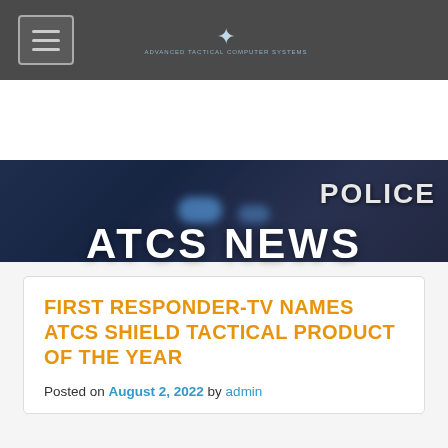Navigation bar with hamburger menu and ATCS logo
[Figure (photo): Hero banner image with police officer in background and blue/red emergency lights, overlaid with 'ATCS NEWS' text and 'POLICE' label visible on officer's back]
FIRST RESPONDER-TV NAMES ATCS SHIELD TACTICAL PRODUCT OF THE YEAR
Posted on August 2, 2022 by admin